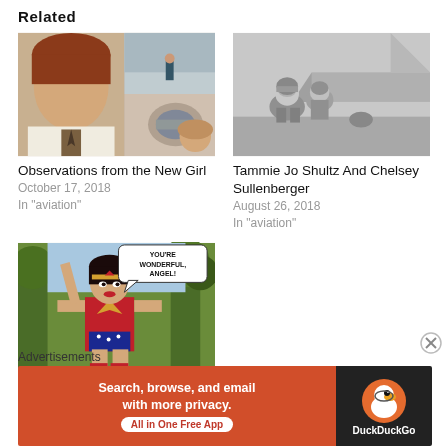Related
[Figure (photo): Collage photo of a woman pilot and airport scenes]
Observations from the New Girl
October 17, 2018
In "aviation"
[Figure (photo): Black and white photo of Tammie Jo Shultz and Chelsey Sullenberger near a military aircraft]
Tammie Jo Shultz And Chelsey Sullenberger
August 26, 2018
In "aviation"
[Figure (illustration): Wonder Woman comic illustration with speech bubble saying YOU'RE WONDERFUL, ANGEL!]
Feminism and Wonder Woman – What you might
Advertisements
[Figure (screenshot): DuckDuckGo advertisement banner: Search, browse, and email with more privacy. All in One Free App]